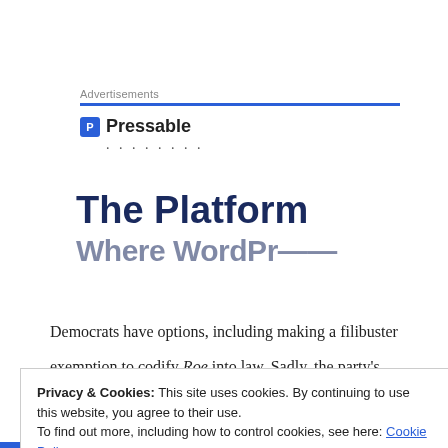Advertisements
[Figure (logo): Pressable logo with blue P icon and 'Pressable' wordmark]
The Platform Where WordPr...
Democrats have options, including making a filibuster exemption to codify Roe into law. Sadly, the party's
Privacy & Cookies: This site uses cookies. By continuing to use this website, you agree to their use.
To find out more, including how to control cookies, see here: Cookie Policy